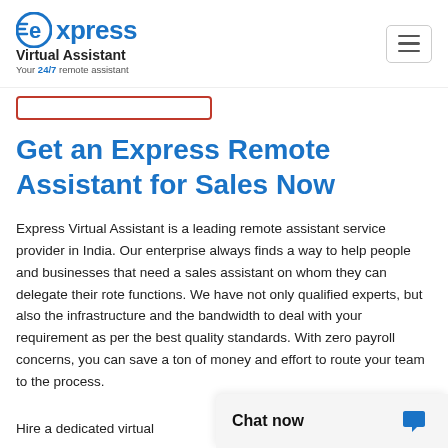[Figure (logo): Express Virtual Assistant logo with blue circle/e icon, blue 'express' text, black 'Virtual Assistant' text, tagline 'Your 24/7 remote assistant']
[Figure (other): Hamburger menu button icon with three horizontal lines in a rounded rectangle]
[Figure (other): Partially visible red-outlined button/input area]
Get an Express Remote Assistant for Sales Now
Express Virtual Assistant is a leading remote assistant service provider in India. Our enterprise always finds a way to help people and businesses that need a sales assistant on whom they can delegate their rote functions. We have not only qualified experts, but also the infrastructure and the bandwidth to deal with your requirement as per the best quality standards. With zero payroll concerns, you can save a ton of money and effort to route your team to the process.
Hire a dedicated virtual ... department more effici...
[Figure (other): Chat now widget overlay with bold 'Chat now' text and blue chat bubble icon]